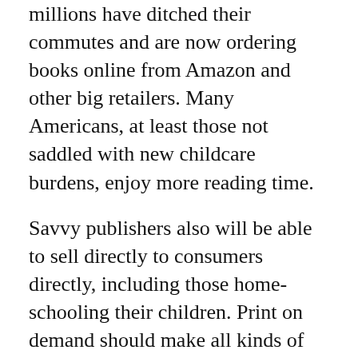millions have ditched their commutes and are now ordering books online from Amazon and other big retailers. Many Americans, at least those not saddled with new childcare burdens, enjoy more reading time.
Savvy publishers also will be able to sell directly to consumers directly, including those home-schooling their children. Print on demand should make all kinds of things possible. Same for electronic books, whose September sales grew 22 percent year over year. And the “online first” publishing model may become increasingly attractive.
You can download the report in PDF and ePub